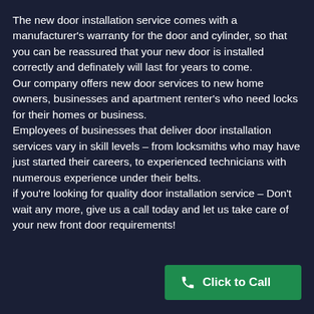The new door installation service comes with a manufacturer's warranty for the door and cylinder, so that you can be reassured that your new door is installed correctly and definately will last for years to come. Our company offers new door services to new home owners, businesses and apartment renter's who need locks for their homes or business. Employees of businesses that deliver door installation services vary in skill levels – from locksmiths who may have just started their careers, to experienced technicians with numerous experience under their belts. if you're looking for quality door installation service – Don't wait any more, give us a call today and let us take care of your new front door requirements!
Click to Call